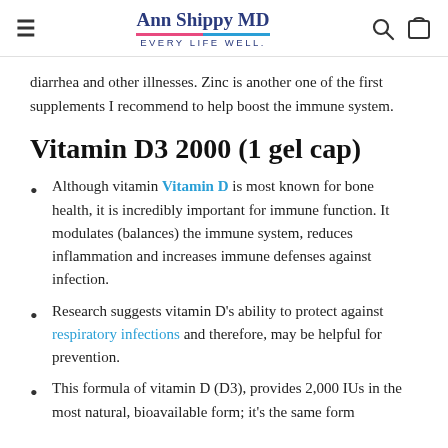Ann Shippy MD EVERY LIFE WELL.
diarrhea and other illnesses. Zinc is another one of the first supplements I recommend to help boost the immune system.
Vitamin D3 2000 (1 gel cap)
Although vitamin Vitamin D is most known for bone health, it is incredibly important for immune function. It modulates (balances) the immune system, reduces inflammation and increases immune defenses against infection.
Research suggests vitamin D's ability to protect against respiratory infections and therefore, may be helpful for prevention.
This formula of vitamin D (D3), provides 2,000 IUs in the most natural, bioavailable form; it's the same form